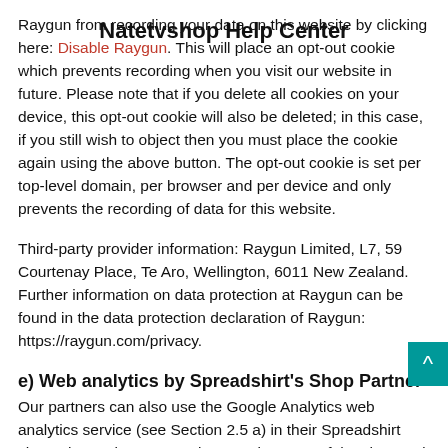Natetvshop Help Center
Raygun from recording your data on this website by clicking here: Disable Raygun. This will place an opt-out cookie which prevents recording when you visit our website in future. Please note that if you delete all cookies on your device, this opt-out cookie will also be deleted; in this case, if you still wish to object then you must place the cookie again using the above button. The opt-out cookie is set per top-level domain, per browser and per device and only prevents the recording of data for this website.
Third-party provider information: Raygun Limited, L7, 59 Courtenay Place, Te Aro, Wellington, 6011 New Zealand. Further information on data protection at Raygun can be found in the data protection declaration of Raygun: https://raygun.com/privacy.
e) Web analytics by Spreadshirt's Shop Partner
Our partners can also use the Google Analytics web analytics service (see Section 2.5 a) in their Spreadshirt shops themselves, as a rule to analyze use of the shop and improve